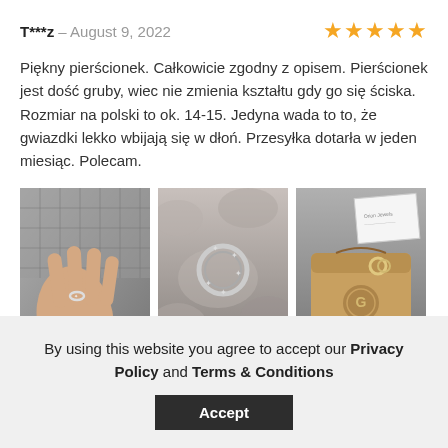T***z – August 9, 2022 ★★★★★
Piękny pierścionek. Całkowicie zgodny z opisem. Pierścionek jest dość gruby, wiec nie zmienia kształtu gdy go się ściska. Rozmiar na polski to ok. 14-15. Jedyna wada to to, że gwiazdki lekko wbijają się w dłoń. Przesyłka dotarła w jeden miesiąc. Polecam.
[Figure (photo): Three product photos: a hand wearing a silver star ring on a textured background; the ring lying on a fluffy grey surface; a gold branded jewellery pouch with the ring inside next to a card.]
By using this website you agree to accept our Privacy Policy and Terms & Conditions
Accept